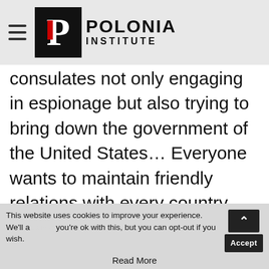Polonia Institute
consulates not only engaging in espionage but also trying to bring down the government of the United States... Everyone wants to maintain friendly relations with every country, but we cannot maintain friendly relations with a country that is trying to subvert us in the way China's been doing
This website uses cookies to improve your experience. We'll assume you're ok with this, but you can opt-out if you wish. Accept
Read More